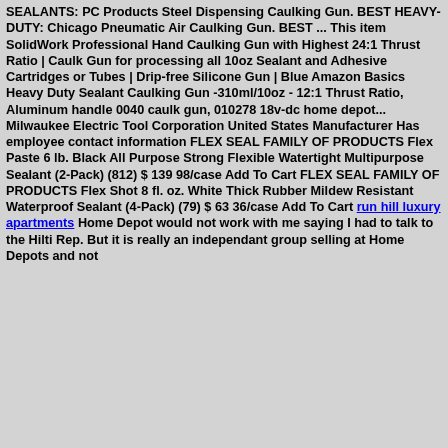SEALANTS: PC Products Steel Dispensing Caulking Gun. BEST HEAVY-DUTY: Chicago Pneumatic Air Caulking Gun. BEST ... This item SolidWork Professional Hand Caulking Gun with Highest 24:1 Thrust Ratio | Caulk Gun for processing all 10oz Sealant and Adhesive Cartridges or Tubes | Drip-free Silicone Gun | Blue Amazon Basics Heavy Duty Sealant Caulking Gun -310ml/10oz - 12:1 Thrust Ratio, Aluminum handle 0040 caulk gun, 010278 18v-dc home depot... Milwaukee Electric Tool Corporation United States Manufacturer Has employee contact information FLEX SEAL FAMILY OF PRODUCTS Flex Paste 6 lb. Black All Purpose Strong Flexible Watertight Multipurpose Sealant (2-Pack) (812) $ 139 98/case Add To Cart FLEX SEAL FAMILY OF PRODUCTS Flex Shot 8 fl. oz. White Thick Rubber Mildew Resistant Waterproof Sealant (4-Pack) (79) $ 63 36/case Add To Cart run hill luxury apartments Home Depot would not work with me saying I had to talk to the Hilti Rep. But it is really an independant group selling at Home Depots and not